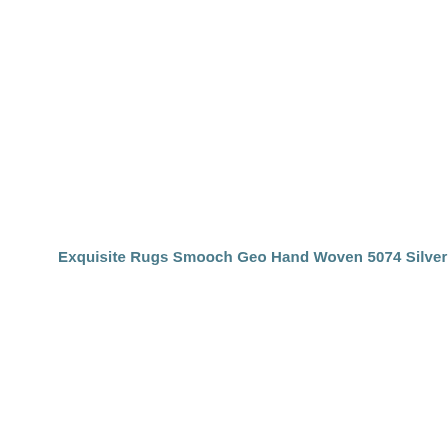Exquisite Rugs Smooch Geo Hand Woven 5074 Silver Area Rug